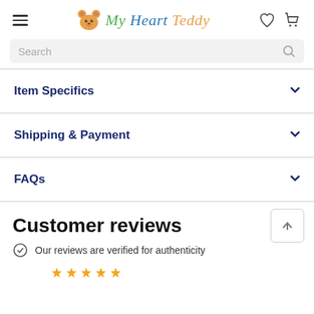My Heart Teddy
Search
Item Specifics
Shipping & Payment
FAQs
Customer reviews
Our reviews are verified for authenticity